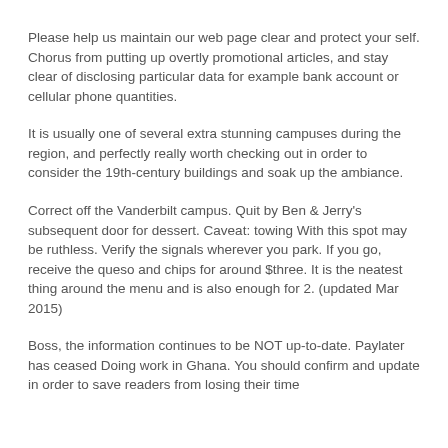Please help us maintain our web page clear and protect your self. Chorus from putting up overtly promotional articles, and stay clear of disclosing particular data for example bank account or cellular phone quantities.
It is usually one of several extra stunning campuses during the region, and perfectly really worth checking out in order to consider the 19th-century buildings and soak up the ambiance.
Correct off the Vanderbilt campus. Quit by Ben & Jerry's subsequent door for dessert. Caveat: towing With this spot may be ruthless. Verify the signals wherever you park. If you go, receive the queso and chips for around $three. It is the neatest thing around the menu and is also enough for 2. (updated Mar 2015)
Boss, the information continues to be NOT up-to-date. Paylater has ceased Doing work in Ghana. You should confirm and update in order to save readers from losing their time